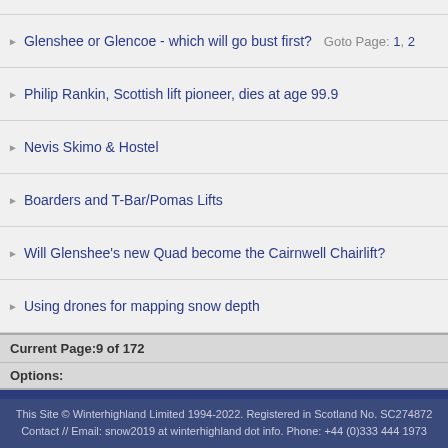Glenshee or Glencoe - which will go bust first? Goto Page: 1, 2
Philip Rankin, Scottish lift pioneer, dies at age 99.9
Nevis Skimo & Hostel
Boarders and T-Bar/Pomas Lifts
Will Glenshee's new Quad become the Cairnwell Chairlift?
Using drones for mapping snow depth
Current Page:9 of 172
Options:
Online Winterhighland Members
Guests: 2
Maximum Number of Concurrent Users : 35 on 13.13hrs on Fri 26 Feb 10
Maximum Number of Concurrent Guests: 178 on 07.46hrs on Thu 7 May 20
This Site © Winterhighland Limited 1994-2022. Registered in Scotland No. SC274872 Contact // Email: snow2019 at winterhighland dot info. Phone: +44 (0)333 444 1973